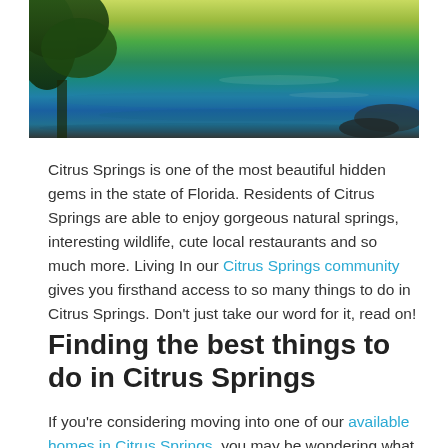[Figure (photo): Aerial or wide-angle photo of a natural spring or waterway in Florida, showing lush green vegetation, trees, and turquoise-blue reflective water.]
Citrus Springs is one of the most beautiful hidden gems in the state of Florida. Residents of Citrus Springs are able to enjoy gorgeous natural springs, interesting wildlife, cute local restaurants and so much more. Living In our Citrus Springs community gives you firsthand access to so many things to do in Citrus Springs. Don't just take our word for it, read on!
Finding the best things to do in Citrus Springs
If you're considering moving into one of our available homes in Citrus Springs, you may be wondering what